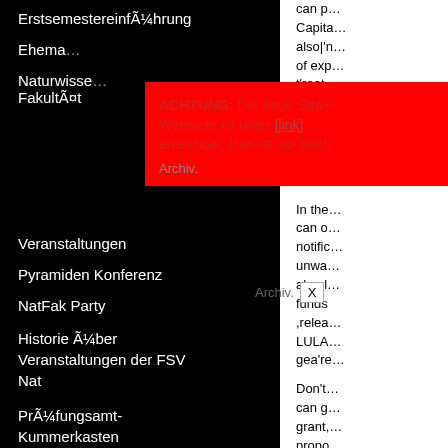ErstsemestereinführungErstsemestereinfÃ¼hrung
Ehema…
Naturwisse… FakultÃ¤t
[Figure (screenshot): Red alert popup overlay reading: ACHTUNG: Die neue Stuve-Webseite ist unter [link] erreichbar. Hier ist nur noch [Archiv.] with an X close button]
Veranstaltungen
Pyramiden Konferenz
NatFak Party
Historie Ã¼ber Veranstaltungen der FSV Nat
PrÃ¼fungsamt-Kummerkasten
Fachschaftsinitiativen (FSIen)
Infos fÃ¼r FSIen
Vernetzungstreffen
Haushaltsmittel
Sitzungen und Protokalle
can p… Capital… also|'n… of exp… t'reat… choos… time, s… busine…
Wor…
In the… can o… notific… unwa… absol… funds ,relea… LULA… gea're…
Don't… can g… grant,… propo…